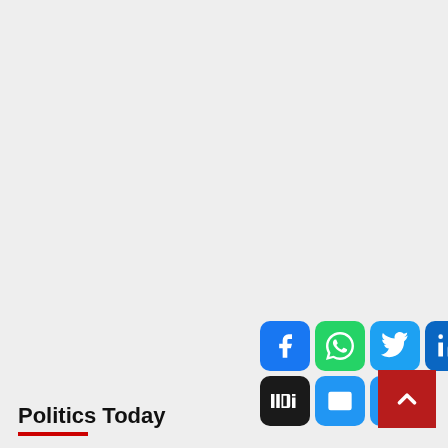[Figure (screenshot): Social media sharing icons: Facebook, WhatsApp, Twitter, LinkedIn, Messenger (top row); Digg, Email, Print (bottom row)]
Politics Today
[Figure (other): Red back-to-top button with upward chevron arrow]